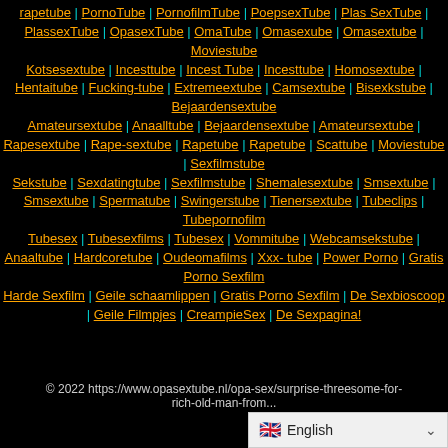rapetube | PornoTube | PornofilmTube | PoepsexTube | Plas SexTube | PlassexTube | OpasexTube | OmaTube | Omasexube | Omasextube | Moviestube Kotsesextube | Incesttube | Incest Tube | Incesttube | Homosextube | Hentaitube | Fucking-tube | Extremeextube | Camsextube | Bisexkstube | Bejaardensextube Amateursextube | Anaalltube | Bejaardensextube | Amateursextube | Rapesextube | Rape-sextube | Rapetube | Rapetube | Scattube | Moviestube | Sexfilmstube Sekstube | Sexdatingtube | Sexfilmstube | Shemalesextube | Smsextube | Smsextube | Spermatube | Swingerstube | Tienersextube | Tubeclips | Tubepornofilm Tubesex | Tubesexfilms | Tubesex | Vommitube | Webcamsekstube | Anaaltube | Hardcoretube | Oudeomafilms | Xxx- tube | Power Porno | Gratis Porno Sexfilm Harde Sexfilm | Geile schaamlippen | Gratis Porno Sexfilm | De Sexbioscoop | Geile Filmpjes | CreampieSex | De Sexpagina!
© 2022 https://www.opasextube.nl/opa-sex/surprise-threesome-for-rich-old-man-from...